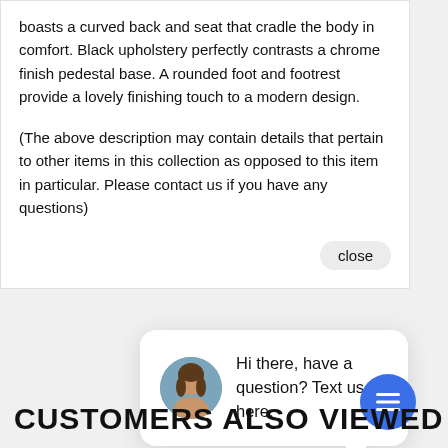boasts a curved back and seat that cradle the body in comfort. Black upholstery perfectly contrasts a chrome finish pedestal base. A rounded foot and footrest provide a lovely finishing touch to a modern design.
(The above description may contain details that pertain to other items in this collection as opposed to this item in particular. Please contact us if you have any questions)
[Figure (screenshot): Chat widget popup showing a woman avatar and text: Hi there, have a question? Text us here. With a close button and a blue chat icon button.]
CUSTOMERS ALSO VIEWED